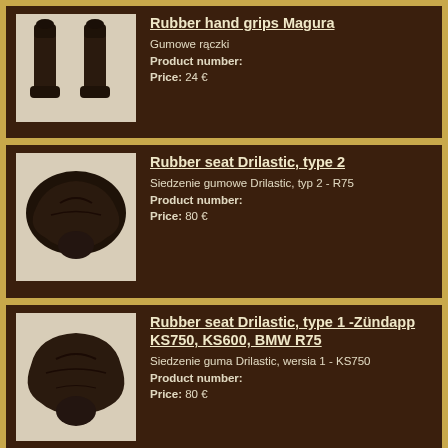[Figure (photo): Two black rubber hand grips for motorcycle/bicycle handlebars, cylindrical shape with flared base]
Rubber hand grips Magura
Gumowe rączki
Product number:
Price: 24 €
[Figure (photo): Black rubber bicycle/motorcycle seat, Drilastic type 2, vintage style with rounded shape]
Rubber seat Drilastic, type 2
Siedzenie gumowe Drilastic, typ 2 - R75
Product number:
Price: 80 €
[Figure (photo): Black rubber seat Drilastic type 1 for Zündapp KS750, KS600, BMW R75, vintage style]
Rubber seat Drilastic, type 1 -Zündapp KS750, KS600, BMW R75
Siedzenie guma Drilastic, wersia 1 - KS750
Product number:
Price: 80 €